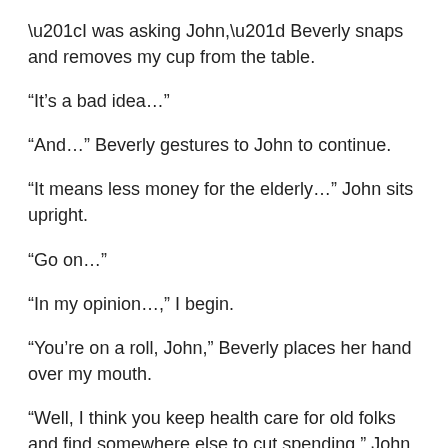“I was asking John,” Beverly snaps and removes my cup from the table.
“It’s a bad idea…”
“And…” Beverly gestures to John to continue.
“It means less money for the elderly…” John sits upright.
“Go on…”
“In my opinion…,” I begin.
“You’re on a roll, John,” Beverly places her hand over my mouth.
“Well, I think you keep health care for old folks and find somewhere else to cut spending,” John briskly swallows.